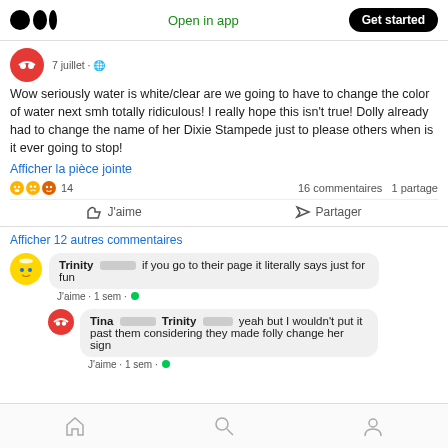Medium logo | Open in app | Get started
7 juillet
Wow seriously water is white/clear are we going to have to change the color of water next smh totally ridiculous! I really hope this isn't true! Dolly already had to change the name of her Dixie Stampede just to please others when is it ever going to stop!
Afficher la pièce jointe
😮😢😠 14   16 commentaires  1 partage
J'aime   Partager
Afficher 12 autres commentaires
Trinity [blurred] if you go to their page it literally says just for fun
J'aime · 1 sem · ●
Tina [blurred] Trinity [blurred] yeah but I wouldn't put it past them considering they made folly change her sign
J'aime · 1 sem · ●
Home | Search | Profile